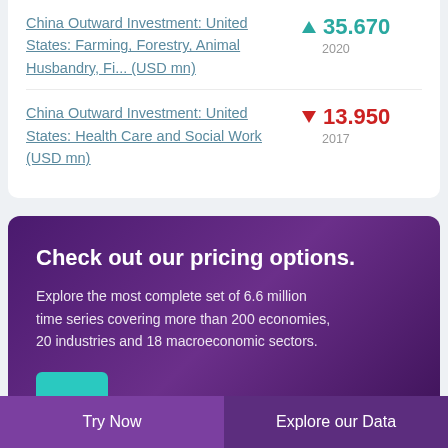China Outward Investment: United States: Farming, Forestry, Animal Husbandry, Fi... (USD mn) ▲ 35.670 2020
China Outward Investment: United States: Health Care and Social Work (USD mn) ▼ 13.950 2017
Check out our pricing options.
Explore the most complete set of 6.6 million time series covering more than 200 economies, 20 industries and 18 macroeconomic sectors.
Try Now   Explore our Data